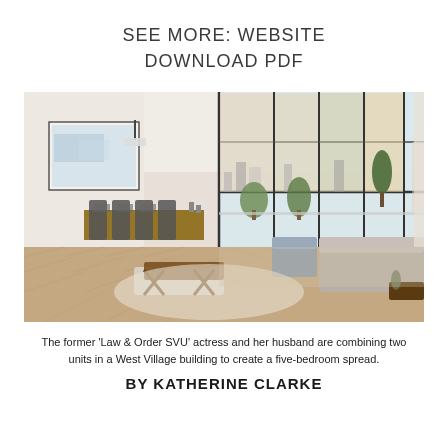SEE MORE: WEBSITE
DOWNLOAD PDF
[Figure (photo): Interior of a luxury apartment with floor-to-ceiling windows overlooking a city skyline. The room features an open-plan layout with a dining area with wooden chairs, a living area with sofa and armchairs, a bench and coffee table, and herringbone wood flooring. Large artwork hangs on the wall.]
The former 'Law & Order SVU' actress and her husband are combining two units in a West Village building to create a five-bedroom spread.
BY KATHERINE CLARKE